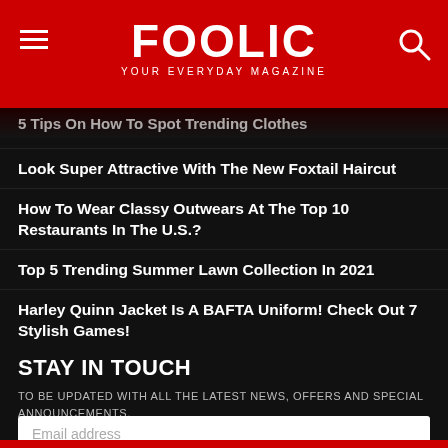FOOLIC - YOUR EVERYDAY MAGAZINE
5 Tips On How To Spot Trending Clothes
Look Super Attractive With The New Foxtail Haircut
How To Wear Classy Outwears At The Top 10 Restaurants In The U.S.?
Top 5 Trending Summer Lawn Collection In 2021
Harley Quinn Jacket Is A BAFTA Uniform! Check Out 7 Stylish Games!
STAY IN TOUCH
TO BE UPDATED WITH ALL THE LATEST NEWS, OFFERS AND SPECIAL ANNOUNCEMENTS.